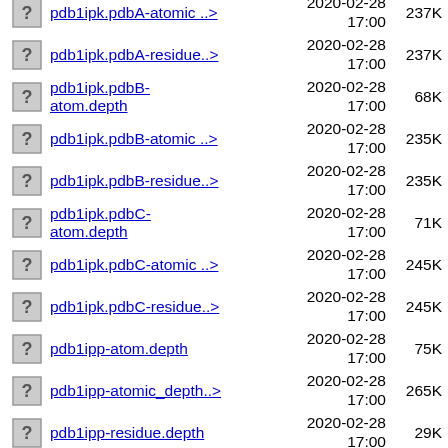pdb1ipk.pdbA-atomic_..> 2020-02-28 17:00 237K
pdb1ipk.pdbA-residue..> 2020-02-28 17:00 237K
pdb1ipk.pdbB-atom.depth 2020-02-28 17:00 68K
pdb1ipk.pdbB-atomic_..> 2020-02-28 17:00 235K
pdb1ipk.pdbB-residue..> 2020-02-28 17:00 235K
pdb1ipk.pdbC-atom.depth 2020-02-28 17:00 71K
pdb1ipk.pdbC-atomic_..> 2020-02-28 17:00 245K
pdb1ipk.pdbC-residue..> 2020-02-28 17:00 245K
pdb1ipp-atom.depth 2020-02-28 17:00 75K
pdb1ipp-atomic_depth..> 2020-02-28 17:00 265K
pdb1ipp-residue.depth 2020-02-28 17:00 29K
pdb1ipp-residue_dept..> 2020-02-28 265K